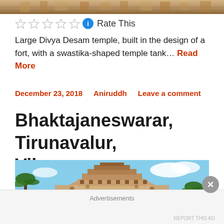[Figure (photo): Top portion of a Hindu temple building, cropped image showing architectural details]
☆☆☆☆☆ ℹ Rate This
Large Divya Desam temple, built in the design of a fort, with a swastika-shaped temple tank… Read More
December 23, 2018    Aniruddh    Leave a comment
Bhaktajaneswarar, Tirunavalur, Viluppuram
[Figure (photo): Photo of a Dravidian-style Hindu temple gopuram (tower) with intricate carvings against a blue sky, flanked by palm trees]
Advertisements